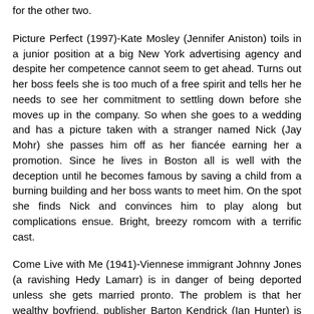for the other two.
Picture Perfect (1997)-Kate Mosley (Jennifer Aniston) toils in a junior position at a big New York advertising agency and despite her competence cannot seem to get ahead. Turns out her boss feels she is too much of a free spirit and tells her he needs to see her commitment to settling down before she moves up in the company. So when she goes to a wedding and has a picture taken with a stranger named Nick (Jay Mohr) she passes him off as her fiancée earning her a promotion. Since he lives in Boston all is well with the deception until he becomes famous by saving a child from a burning building and her boss wants to meet him. On the spot she finds Nick and convinces him to play along but complications ensue. Bright, breezy romcom with a terrific cast.
Come Live with Me (1941)-Viennese immigrant Johnny Jones (a ravishing Hedy Lamarr) is in danger of being deported unless she gets married pronto. The problem is that her wealthy boyfriend, publisher Barton Kendrick (Ian Hunter) is already married and wife Diana (Verree